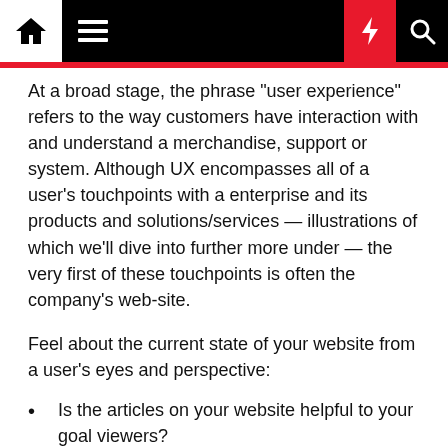Navigation bar with home, menu, dark mode, bolt, and search icons
At a broad stage, the phrase “user experience” refers to the way customers have interaction with and understand a merchandise, support or system. Although UX encompasses all of a user’s touchpoints with a enterprise and its products and solutions/services — illustrations of which we’ll dive into further more under — the very first of these touchpoints is often the company’s web-site.
Feel about the current state of your website from a user’s eyes and perspective:
Is the articles on your website helpful to your goal viewers?
Is the site material legible and quick to study?
Is the web-site uncomplicated to